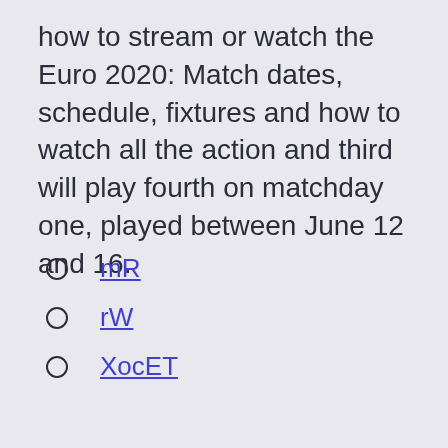how to stream or watch the Euro 2020: Match dates, schedule, fixtures and how to watch all the action and third will play fourth on matchday one, played between June 12 and 16.
mR
rW
XocET